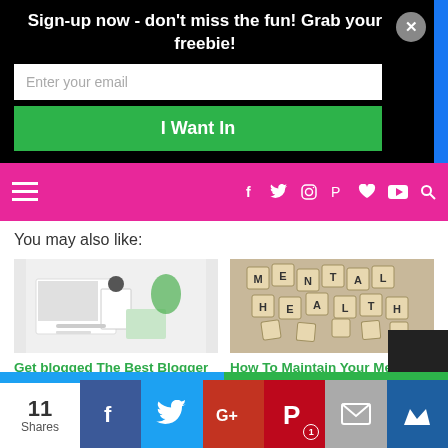Sign-up now - don't miss the fun! Grab your freebie!
Enter your email
I Want In
[Figure (screenshot): Pink navigation bar with hamburger menu icon on left and social media icons (Facebook, Twitter, Instagram, Pinterest, heart, YouTube, search) on right]
You may also like:
[Figure (photo): Flat lay of desk with laptop, notebook, pen and plant on white background]
[Figure (photo): Scrabble tiles spelling out MENTAL HEALTH on wooden background]
Get blogged The Best Blogger Outreach
How To Maintain Your Mental Health
11 Shares